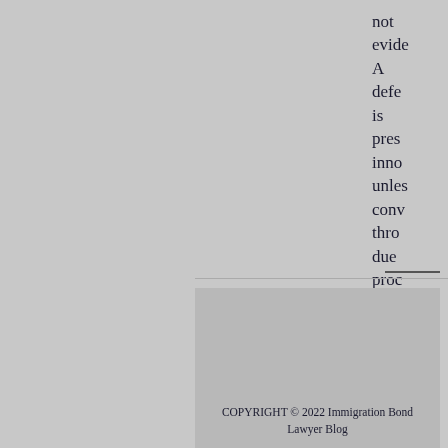not evide A defe is pres inno unles conv thro due proc of law.
COPYRIGHT © 2022 Immigration Bond Lawyer Blog